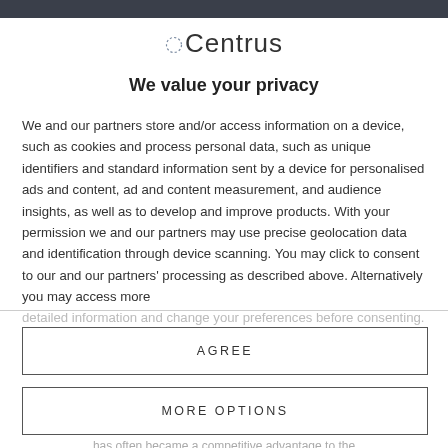Centrus
We value your privacy
We and our partners store and/or access information on a device, such as cookies and process personal data, such as unique identifiers and standard information sent by a device for personalised ads and content, ad and content measurement, and audience insights, as well as to develop and improve products. With your permission we and our partners may use precise geolocation data and identification through device scanning. You may click to consent to our and our partners' processing as described above. Alternatively you may access more detailed information and change your preferences before consenting.
AGREE
MORE OPTIONS
has often became a competitive advantage to the